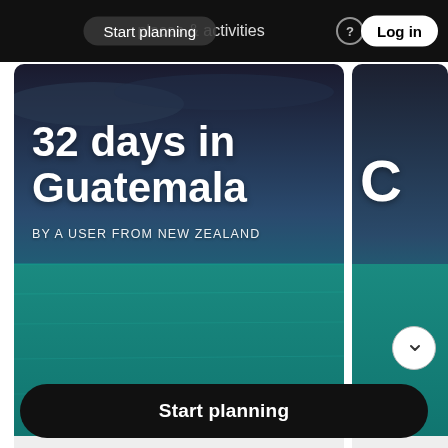Start planning | places & activities | Log in
32 days in Guatemala
BY A USER FROM NEW ZEALAND
[Figure (photo): Travel itinerary card showing teal/turquoise ocean water with a dark stormy sky, featuring text '32 days in Guatemala' and 'BY A USER FROM NEW ZEALAND']
Retalhuleu · San Pedro La Laguna
[Figure (photo): Partially visible second travel card with similar teal ocean background, showing the letter C and 'Antigua ·' at the bottom]
Antigua ·
Start planning